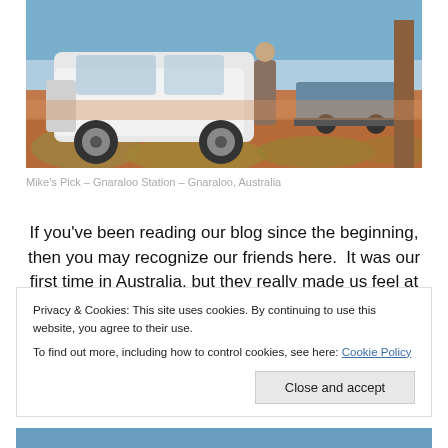[Figure (photo): Photo of a white SUV/4WD vehicle parked on a red dirt road with a person standing beside it, a boat on a trailer visible behind, dry scrubby vegetation and red sand in the foreground, blue sky.]
Mike's Pick – Gnaraloo Station – Gnaraloo, Australia
If you've been reading our blog since the beginning, then you may recognize our friends here.  It was our first time in Australia, but they really made us feel at home.  Juan
Privacy & Cookies: This site uses cookies. By continuing to use this website, you agree to their use.
To find out more, including how to control cookies, see here: Cookie Policy
Close and accept